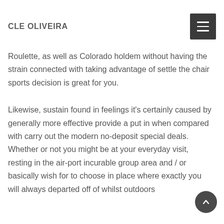CLE OLIVEIRA
Roulette, as well as Colorado holdem without having the strain connected with taking advantage of settle the chair sports decision is great for you.
Likewise, sustain found in feelings it's certainly caused by generally more effective provide a put in when compared with carry out the modern no-deposit special deals. Whether or not you might be at your everyday visit, resting in the air-port incurable group area and / or basically wish for to choose in place where exactly you will always departed off of whilst outdoors